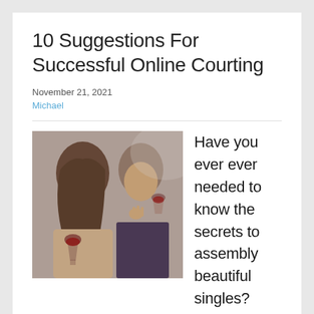10 Suggestions For Successful Online Courting
November 21, 2021
Michael
[Figure (photo): A man and woman sharing wine glasses close together, in an intimate social setting.]
Have you ever ever needed to know the secrets to assembly beautiful singles?